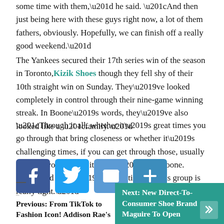some time with them," he said. "And then just being here with these guys right now, a lot of them fathers, obviously. Hopefully, we can finish off a really good weekend."
The Yankees secured their 17th series win of the season in Toronto, Kizik Shoes though they fell shy of their 10th straight win on Sunday. They've looked completely in control through their nine-game winning streak. In Boone's words, they've also looked like a “family.”
“Through it all, whether it’s great times you go through that bring closeness or whether it’s challenging times, if you can get through those, usually it makes you a little bit closer,” said Boone. “And there’s no question that this group is really tight.”
[Figure (infographic): Social sharing buttons: Facebook (blue), Twitter (light blue), Email (blue), Share/Plus (dark blue)]
Previous: From TikTok to Fashion Icon! Addison Rae's
Next: New Direct-To-Consumer Shoe Brand Maguire To Open